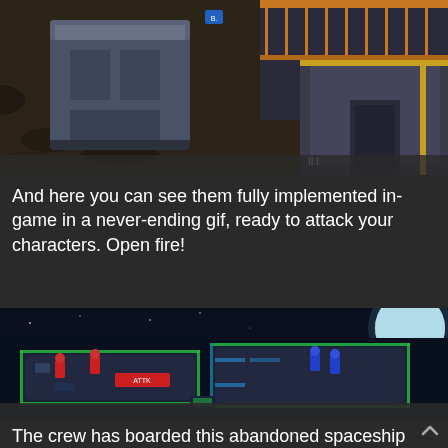[Figure (screenshot): Top-down isometric video game screenshot showing a sci-fi environment with grey/blue cubic structures, orange metal walkways/railings, and a dark ground. A small blue UI element is visible near top center. Small text reading 'II I' visible near center.]
And here you can see them fully implemented in-game in a never-ending gif, ready to attack your characters. Open fire!
[Figure (screenshot): Isometric video game screenshot of a spaceship interior/exterior seen from above at night, with a large blue-white moon in the upper right. The ship has illuminated platform sections with green/blue glowing edges. Red enemy characters and player characters are visible with health/UI indicators. A tooltip 'ATTK' is visible near lower center.]
The crew has boarded this abandoned spaceship and found some food and resources they can use. Time to load the shuttle up and head on back home.